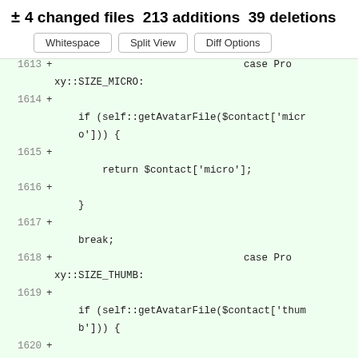± 4 changed files 213 additions 39 deletions
[Figure (screenshot): Buttons: Whitespace, Split View, Diff Options]
1613 +                                         case Proxy::SIZE_MICRO:
1614 +     if (self::getAvatarFile($contact['micro'])) {
1615 +         return $contact['micro'];
1616 +         }
1617 +     break;
1618 +                                         case Proxy::SIZE_THUMB:
1619 +     if (self::getAvatarFile($contact['thumb'])) {
1620 +         return $contact['thumb'];
1621 +